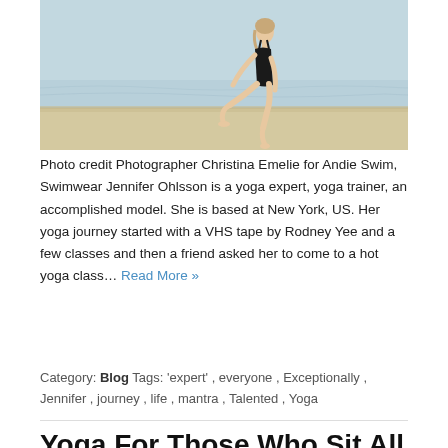[Figure (photo): Woman in black swimsuit doing a yoga lunge pose on a beach with ocean water in the background]
Photo credit Photographer Christina Emelie for Andie Swim, Swimwear Jennifer Ohlsson is a yoga expert, yoga trainer, an accomplished model. She is based at New York, US. Her yoga journey started with a VHS tape by Rodney Yee and a few classes and then a friend asked her to come to a hot yoga class… Read More »
Category: Blog Tags: 'expert', everyone, Exceptionally, Jennifer, journey, life, mantra, Talented, Yoga
Yoga For Those Who Sit All